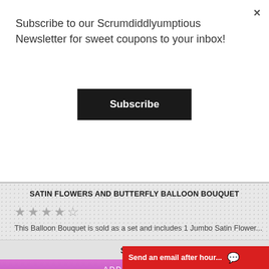Subscribe to our Scrumdiddlyumptious Newsletter for sweet coupons to your inbox!
Subscribe
SATIN FLOWERS AND BUTTERFLY BALLOON BOUQUET
★★★★★
This Balloon Bouquet is sold as a set and includes 1 Jumbo Satin Flower...
$39.95
ADD TO CART
Send an email after hour...